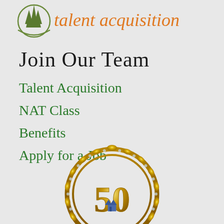[Figure (logo): Talent acquisition logo with trees icon and orange italic text 'talent acquisition']
Join Our Team
Talent Acquisition
NAT Class
Benefits
Apply for a Job
[Figure (logo): Golden 50th anniversary badge with laurel wreath and castle/trees icon in center]